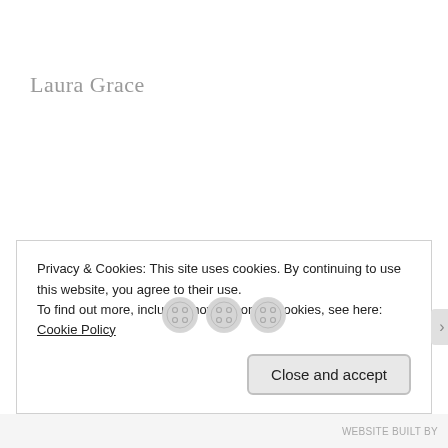Laura Grace
[Figure (illustration): Three decorative button icons arranged horizontally on a dashed divider line]
Privacy & Cookies: This site uses cookies. By continuing to use this website, you agree to their use.
To find out more, including how to control cookies, see here: Cookie Policy
Close and accept
WEBSITE BUILT BY